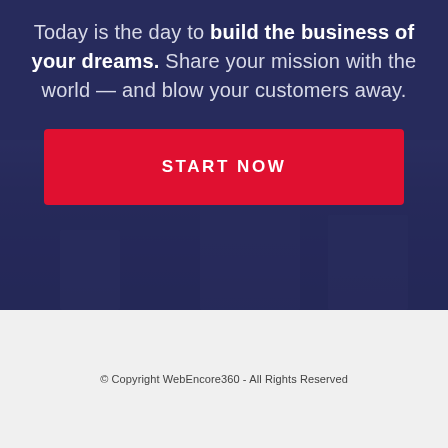Today is the day to build the business of your dreams. Share your mission with the world — and blow your customers away.
START NOW
© Copyright WebEncore360 - All Rights Reserved